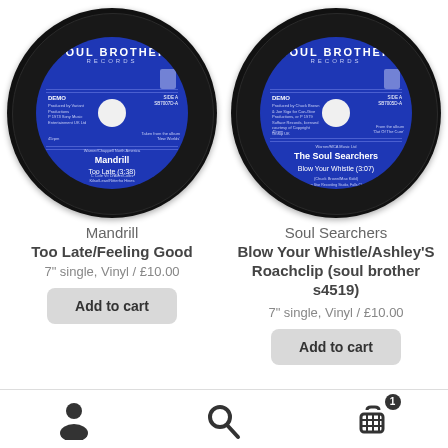[Figure (photo): Soul Brother Records vinyl 7-inch single label for Mandrill - Too Late, blue label with white text, demo copy, Side A SB7007D-A]
Mandrill
Too Late/Feeling Good
7" single, Vinyl / £10.00
Add to cart
[Figure (photo): Soul Brother Records vinyl 7-inch single label for The Soul Searchers - Blow Your Whistle, blue label with white text, demo copy, Side A SB7005D-A]
Soul Searchers
Blow Your Whistle/Ashley'S Roachclip (soul brother s4519)
7" single, Vinyl / £10.00
Add to cart